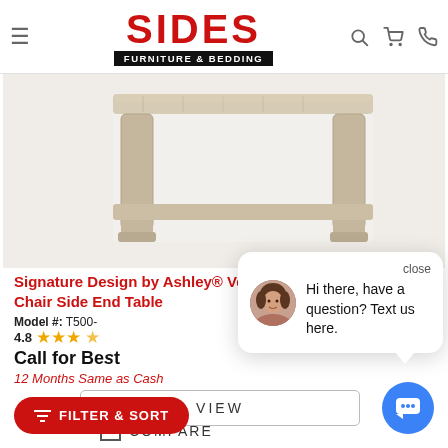SIDES FURNITURE & BEDDING
[Figure (photo): Weathered light wood chair side end table with lower shelf, rustic finish]
Signature Design by Ashley® Vennilux Bro' Chair Side End Table
Model #: T500-
4.8 ★★★★
Call for Best
12 Months Same as Cash
VIEW
COMPARE
[Figure (screenshot): Chat popup overlay with avatar photo of woman and text: Hi there, have a question? Text us here.]